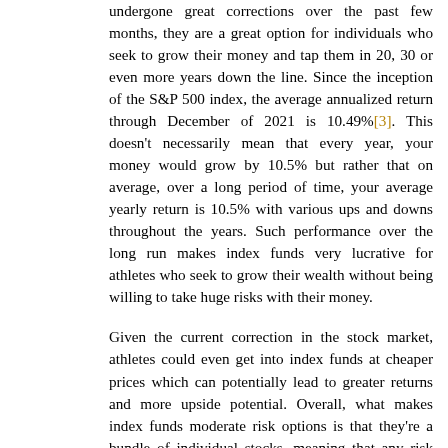undergone great corrections over the past few months, they are a great option for individuals who seek to grow their money and tap them in 20, 30 or even more years down the line. Since the inception of the S&P 500 index, the average annualized return through December of 2021 is 10.49%[3]. This doesn't necessarily mean that every year, your money would grow by 10.5% but rather that on average, over a long period of time, your average yearly return is 10.5% with various ups and downs throughout the years. Such performance over the long run makes index funds very lucrative for athletes who seek to grow their wealth without being willing to take huge risks with their money.
Given the current correction in the stock market, athletes could even get into index funds at cheaper prices which can potentially lead to greater returns and more upside potential. Overall, what makes index funds moderate risk options is that they're a bundle of individual stocks, meaning that any risk associated with individual stocks is gone and as long as the economy does well, the index funds will likely do equally well.
On the contrary, individual growth stocks pose higher risk but could achieve very high returns if the underlying company performs well. Growth stocks are our higher risk, high return option which should only be pursued with the help of financial advisors. Traditional growth